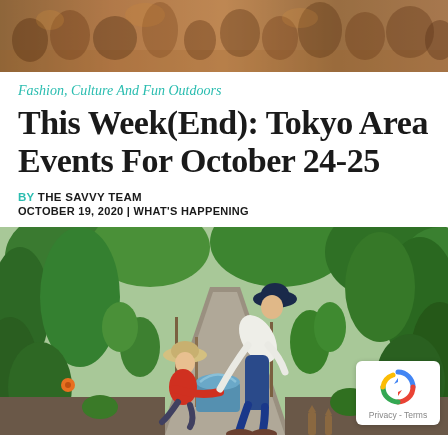[Figure (photo): Top banner photo of a crowd of people at an outdoor event, warm tones]
Fashion, Culture And Fun Outdoors
This Week(End): Tokyo Area Events For October 24-25
BY THE SAVVY TEAM
OCTOBER 19, 2020 | WHAT'S HAPPENING
[Figure (photo): Two people, a child and an adult, tending to plants in a lush green garden, with a blue bucket. The child is crouching in a red shirt and straw hat; the adult is leaning over in a white shirt and blue jeans with a navy blue hat. There is a reCAPTCHA badge overlay in the bottom right corner.]